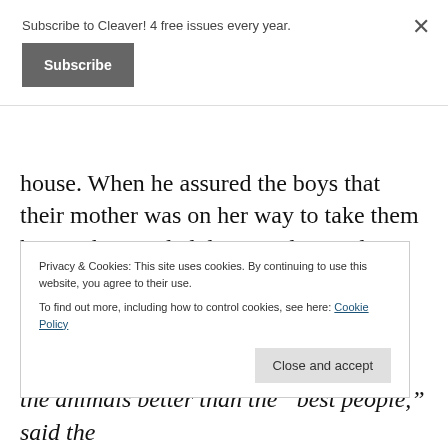Subscribe to Cleaver! 4 free issues every year.
Subscribe
house. When he assured the boys that their mother was on her way to take them home, they settled down and waited.
“Titi, read to us,” said James as he sat beside him. Tom perched on the arm of the sofa,
Privacy & Cookies: This site uses cookies. By continuing to use this website, you agree to their use.
To find out more, including how to control cookies, see here: Cookie Policy
Close and accept
the animals better than the “best people,” said the